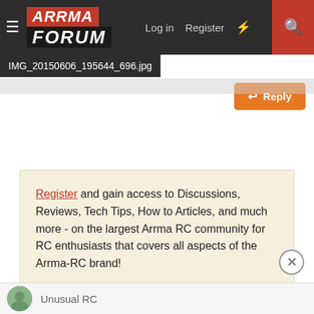ARRMA FORUM — Log in | Register
IMG_20150606_195644_696.jpg
Reply
Register and gain access to Discussions, Reviews, Tech Tips, How to Articles, and much more - on the largest Arrma RC community for RC enthusiasts that covers all aspects of the Arrma-RC brand!
Register Today It's free! This box will disappear once registered!
Unusual RC